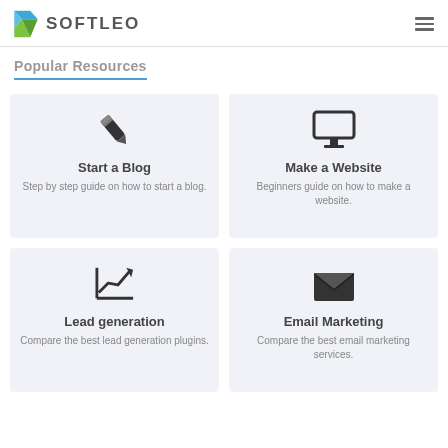[Figure (logo): Softleo logo with blue and green S icon and bold grey SOFTLEO text]
Popular Resources
[Figure (infographic): Four cards: Start a Blog (pencil icon), Make a Website (monitor icon), Lead generation (chart icon), Email Marketing (envelope icon)]